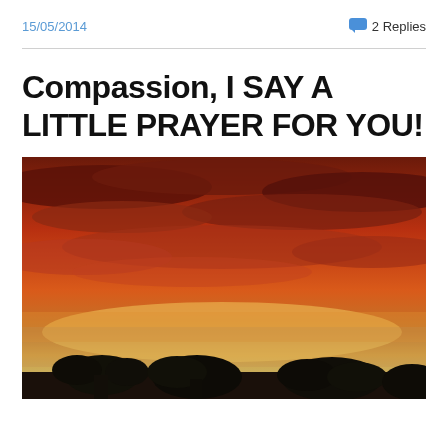15/05/2014   💬 2 Replies
Compassion, I SAY A LITTLE PRAYER FOR YOU!
[Figure (photo): A dramatic sunset sky with deep orange-red clouds and dark silhouetted trees in the foreground]